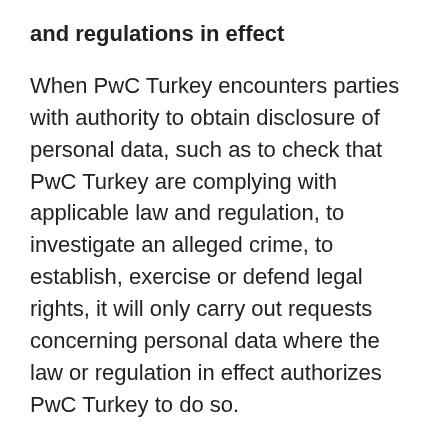and regulations in effect
When PwC Turkey encounters parties with authority to obtain disclosure of personal data, such as to check that PwC Turkey are complying with applicable law and regulation, to investigate an alleged crime, to establish, exercise or defend legal rights, it will only carry out requests concerning personal data where the law or regulation in effect authorizes PwC Turkey to do so.
Changes to this privacy statement
This privacy statement was last updated on June